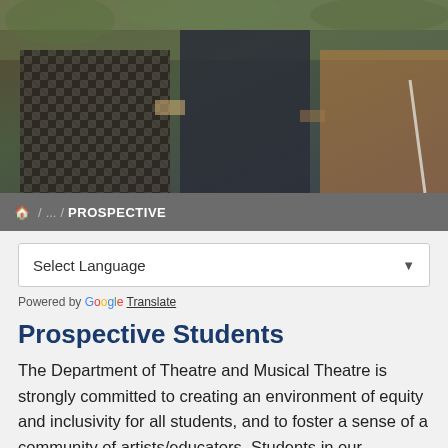[Figure (photo): Hero image showing students standing together outdoors, with patterned clothing and greenery in the background.]
🏠 / ... / PROSPECTIVE
Select Language ▼
Powered by Google Translate
Prospective Students
The Department of Theatre and Musical Theatre is strongly committed to creating an environment of equity and inclusivity for all students, and to foster a sense of a community of artists/educators. Students in our department participate in an active, hands-on program based in solid theoretical principles and